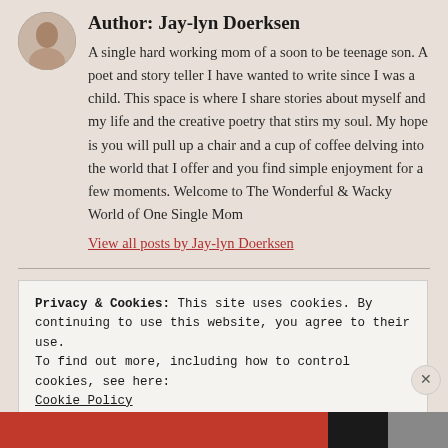[Figure (photo): Circular profile photo of author Jay-lyn Doerksen]
Author: Jay-lyn Doerksen
A single hard working mom of a soon to be teenage son. A poet and story teller I have wanted to write since I was a child. This space is where I share stories about myself and my life and the creative poetry that stirs my soul. My hope is you will pull up a chair and a cup of coffee delving into the world that I offer and you find simple enjoyment for a few moments. Welcome to The Wonderful & Wacky World of One Single Mom
View all posts by Jay-lyn Doerksen
Privacy & Cookies: This site uses cookies. By continuing to use this website, you agree to their use.
To find out more, including how to control cookies, see here:
Cookie Policy
Close and accept